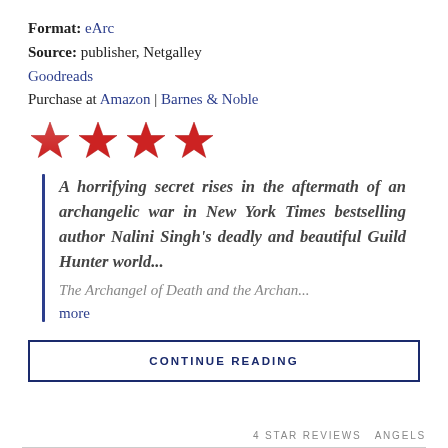Format: eArc
Source: publisher, Netgalley
Goodreads
Purchase at Amazon | Barnes & Noble
[Figure (illustration): Four red stars rating]
A horrifying secret rises in the aftermath of an archangelic war in New York Times bestselling author Nalini Singh's deadly and beautiful Guild Hunter world...
The Archangel of Death and the Archan...
more
CONTINUE READING
4 STAR REVIEWS   ANGELS